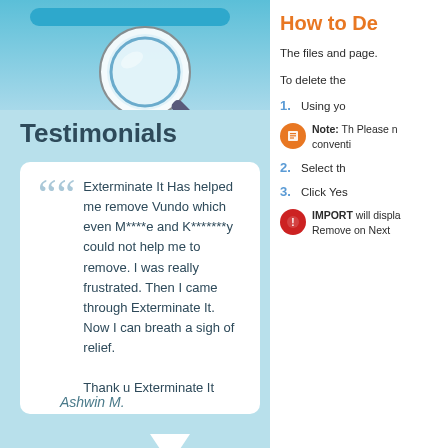[Figure (illustration): Magnifying glass illustration on a teal/blue gradient background at the top of the left panel]
Testimonials
Exterminate It Has helped me remove Vundo which even M****e and K*******y could not help me to remove. I was really frustrated. Then I came through Exterminate It. Now I can breath a sigh of relief.

Thank u Exterminate It
Ashwin M.
How to De
The files and page.
To delete the
Using yo
Note: Th Please n conventi
Select th
Click Yes
IMPORT will displa Remove on Next